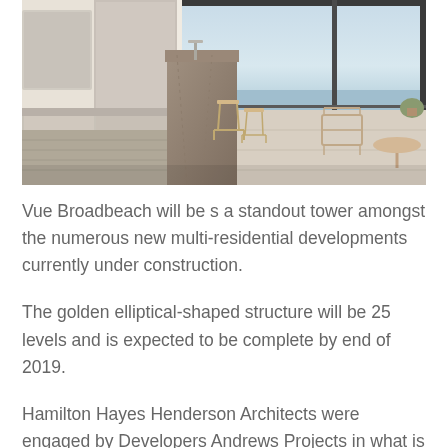[Figure (photo): Interior photo of a modern kitchen/living space with a marble island bench, bar stools, and floor-to-ceiling glass sliding doors opening to a balcony with ocean views. Natural light, light wood and stone finishes.]
Vue Broadbeach will be s a standout tower amongst the numerous new multi-residential developments currently under construction.
The golden elliptical-shaped structure will be 25 levels and is expected to be complete by end of 2019.
Hamilton Hayes Henderson Architects were engaged by Developers Andrews Projects in what is their